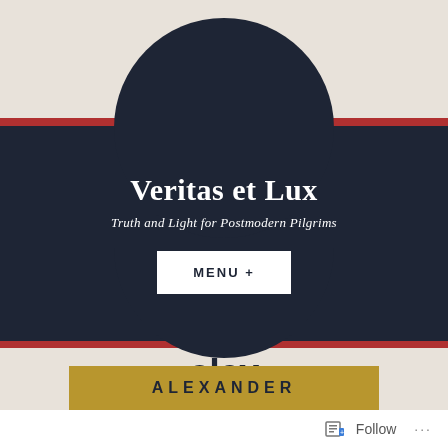Veritas et Lux
Truth and Light for Postmodern Pilgrims
MENU +
alex
ALEXANDER
Follow ...